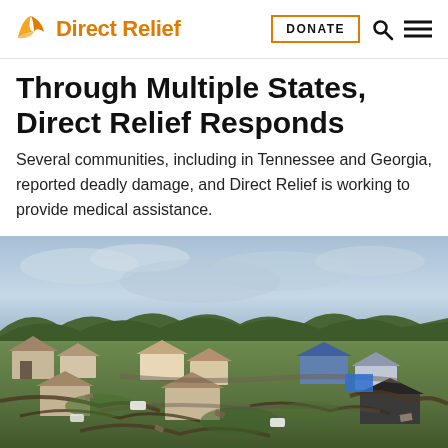Direct Relief — DONATE [nav bar with search and menu icons]
Through Multiple States, Direct Relief Responds
Several communities, including in Tennessee and Georgia, reported deadly damage, and Direct Relief is working to provide medical assistance.
[Figure (photo): Aerial view of tornado-damaged neighborhood with downed trees, damaged rooftops, and debris scattered across residential area under an overcast sky.]